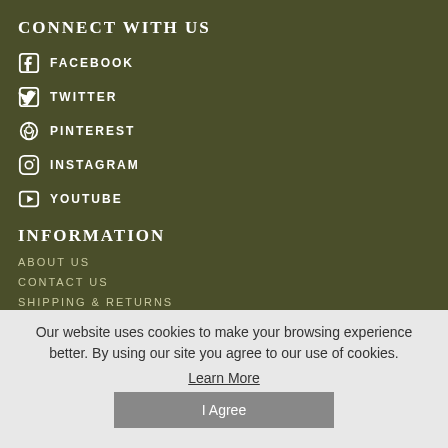CONNECT WITH US
FACEBOOK
TWITTER
PINTEREST
INSTAGRAM
YOUTUBE
INFORMATION
ABOUT US
CONTACT US
SHIPPING & RETURNS
Our website uses cookies to make your browsing experience better. By using our site you agree to our use of cookies.
Learn More
I Agree